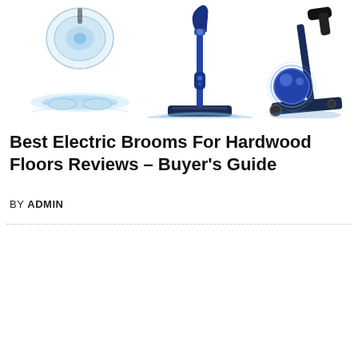[Figure (photo): Product photo showing electric broom/vacuum cleaners for hardwood floors — a floor polisher on the left, a stick vacuum in the center, and a handheld/stick vacuum on the right, all against a white background with blue accent lighting effects]
Best Electric Brooms For Hardwood Floors Reviews – Buyer's Guide
BY ADMIN